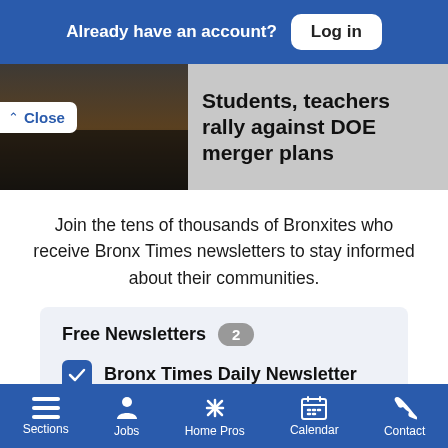Already have an account? Log in
Students, teachers rally against DOE merger plans
Join the tens of thousands of Bronxites who receive Bronx Times newsletters to stay informed about their communities.
Free Newsletters 2
Bronx Times Daily Newsletter
Bronx Times Events
Sections  Jobs  Home Pros  Calendar  Contact